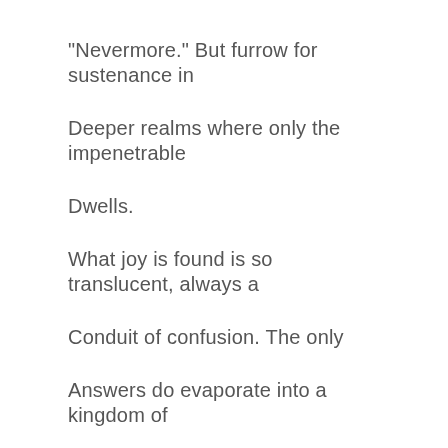“Nevermore.” But furrow for sustenance in
Deeper realms where only the impenetrable
Dwells.
What joy is found is so translucent, always a
Conduit of confusion. The only
Answers do evaporate into a kingdom of
Almighty fate.
We wish we had control of all but slowly